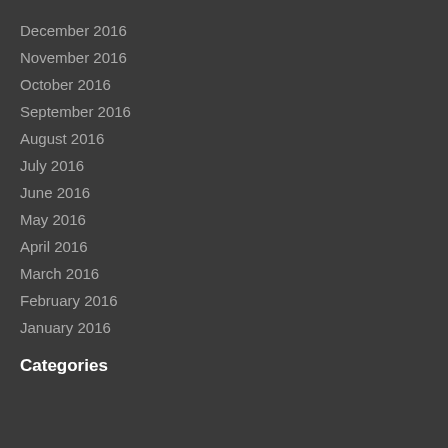December 2016
November 2016
October 2016
September 2016
August 2016
July 2016
June 2016
May 2016
April 2016
March 2016
February 2016
January 2016
Categories